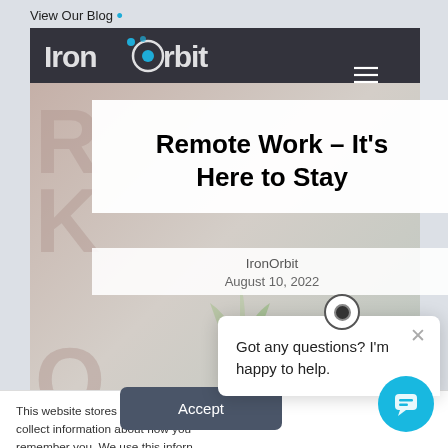View Our Blog
[Figure (screenshot): IronOrbit website screenshot with logo, navigation hamburger menu, and hero image showing large background letters R K O M with a plant and laptop]
Remote Work – It's Here to Stay
IronOrbit
August 10, 2022
This website stores cookies on your computer to collect information about how you interact with us, remember you. We use this information to improve your browsing experience and for analytics and metrics about this website and other media. To find out more, see our Privacy Policy.
Accept
Got any questions? I'm happy to help.